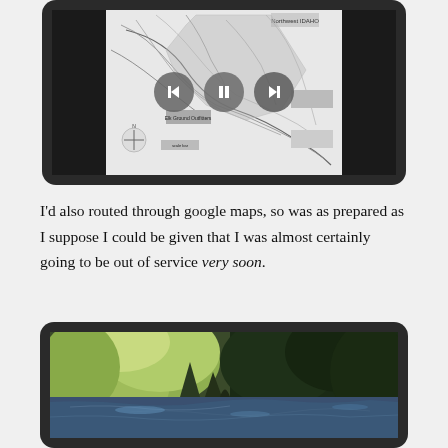[Figure (screenshot): A tablet device showing a black-and-white topographic trail map with playback controls (back, pause, forward buttons) overlaid in the center.]
I'd also routed through google maps, so was as prepared as I suppose I could be given that I was almost certainly going to be out of service very soon.
[Figure (photo): A tablet device showing a nature photograph of a forest creek or river with green trees and foliage reflected in the water.]